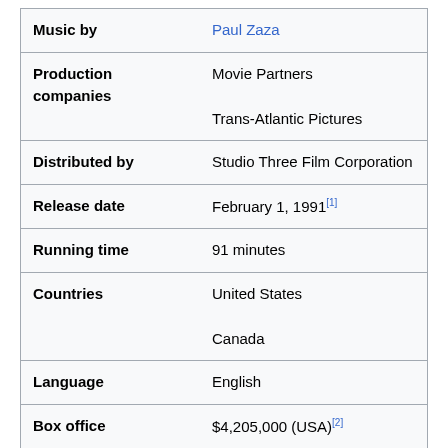| Field | Value |
| --- | --- |
| Music by | Paul Zaza |
| Production companies | Movie Partners
Trans-Atlantic Pictures |
| Distributed by | Studio Three Film Corporation |
| Release date | February 1, 1991[1] |
| Running time | 91 minutes |
| Countries | United States
Canada |
| Language | English |
| Box office | $4,205,000 (USA)[2] |